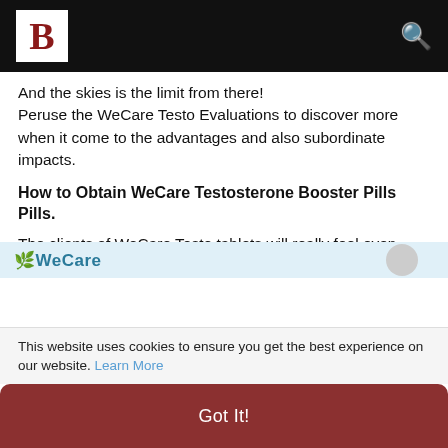B [logo] [search icon]
And the skies is the limit from there! Peruse the WeCare Testo Evaluations to discover more when it come to the advantages and also subordinate impacts.
How to Obtain WeCare Testosterone Booster Pills Pills.
The clients of WeCare Testo tablets will really feel even more stirred efficiently during S3x as well as foster strong command over their feelings.just visit official website of formula get free trials in the USA.
[Figure (screenshot): Partial WeCare logo/image strip at bottom of article]
This website uses cookies to ensure you get the best experience on our website. Learn More
Got It!